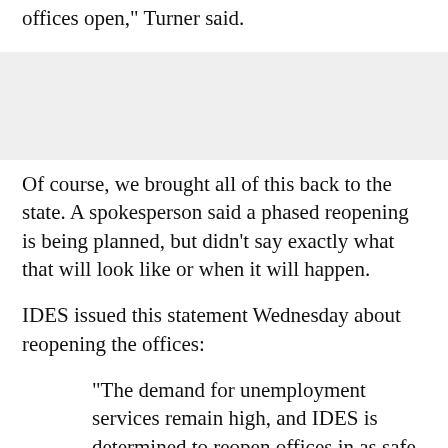offices open," Turner said.
[Figure (other): Gray advertisement or image placeholder block]
Of course, we brought all of this back to the state. A spokesperson said a phased reopening is being planned, but didn't say exactly what that will look like or when it will happen.
IDES issued this statement Wednesday about reopening the offices:
"The demand for unemployment services remain high, and IDES is determined to reopen offices in as safe a manner as possible. The Governor has prioritized the...